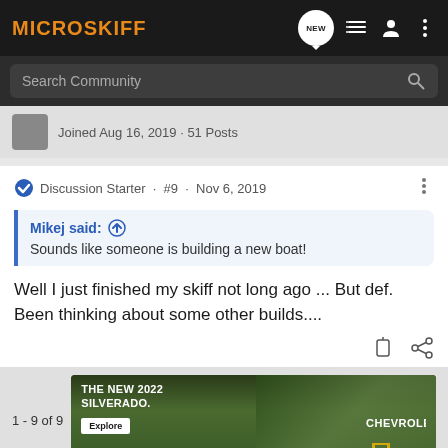MICROSKIFF
Search Community
Joined Aug 16, 2019 · 51 Posts
Discussion Starter · #9 · Nov 6, 2019
Mikej said:
Sounds like someone is building a new boat!
Well I just finished my skiff not long ago ... But def. Been thinking about some other builds....
1 - 9 of 9
[Figure (screenshot): Chevrolet Silverado 2022 advertisement banner with truck image, text 'THE NEW 2022 SILVERADO.' and Explore button]